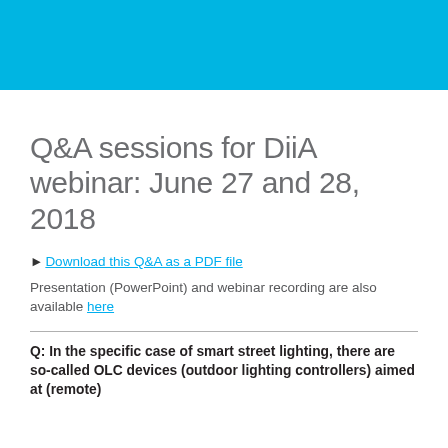Q&A sessions for DiiA webinar: June 27 and 28, 2018
► Download this Q&A as a PDF file
Presentation (PowerPoint) and webinar recording are also available here
Q: In the specific case of smart street lighting, there are so-called OLC devices (outdoor lighting controllers) aimed at (remote) controlling the street lamps of a lamplight. A